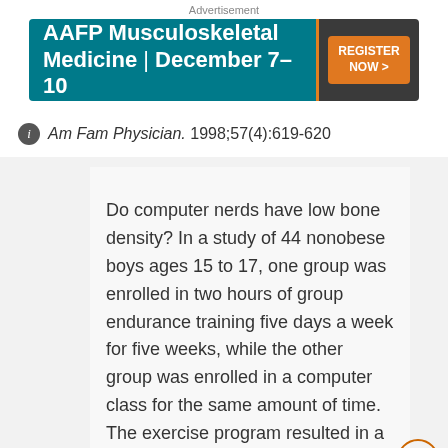Advertisement
[Figure (illustration): AAFP Musculoskeletal Medicine | December 7-10 banner advertisement with teal background and orange REGISTER NOW button]
Am Fam Physician. 1998;57(4):619-620
Do computer nerds have low bone density? In a study of 44 nonobese boys ages 15 to 17, one group was enrolled in two hours of group endurance training five days a week for five weeks, while the other group was enrolled in a computer class for the same amount of time. The exercise program resulted in a 20 percent increase in